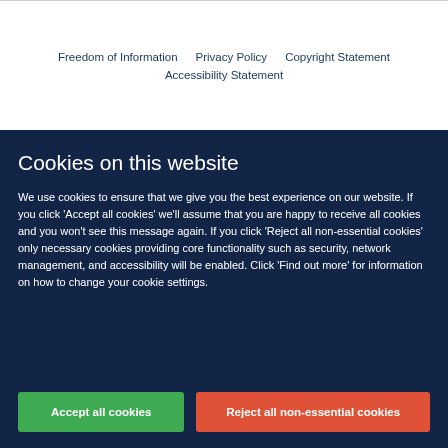Freedom of Information  Privacy Policy  Copyright Statement  Accessibility Statement
Cookies on this website
We use cookies to ensure that we give you the best experience on our website. If you click 'Accept all cookies' we'll assume that you are happy to receive all cookies and you won't see this message again. If you click 'Reject all non-essential cookies' only necessary cookies providing core functionality such as security, network management, and accessibility will be enabled. Click 'Find out more' for information on how to change your cookie settings.
Accept all cookies
Reject all non-essential cookies